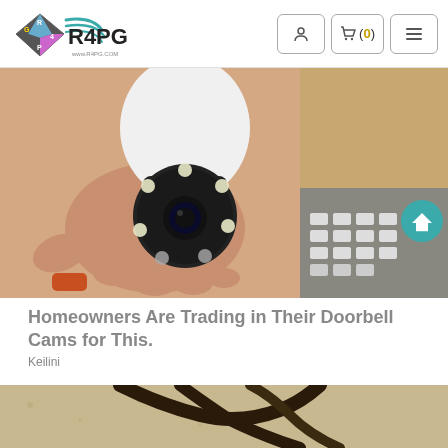R4PG www.r4pg.com — navigation header with user icon, cart (0), and menu
[Figure (photo): A hand holding a white bulb-shaped security camera with LED lights and a camera lens in the center, displayed against a background with cardboard boxes.]
Homeowners Are Trading in Their Doorbell Cams for This.
Keilini
[Figure (photo): Partial view of sandals or strapped footwear on a sandy/textured surface.]